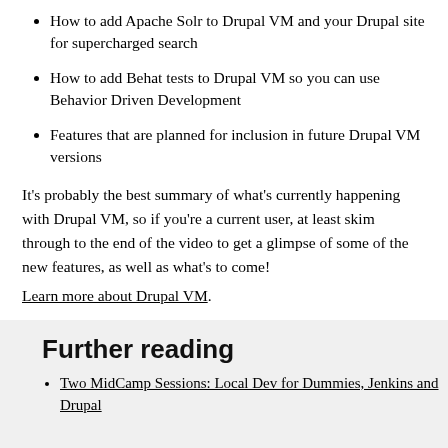How to add Apache Solr to Drupal VM and your Drupal site for supercharged search
How to add Behat tests to Drupal VM so you can use Behavior Driven Development
Features that are planned for inclusion in future Drupal VM versions
It's probably the best summary of what's currently happening with Drupal VM, so if you're a current user, at least skim through to the end of the video to get a glimpse of some of the new features, as well as what's to come!
Learn more about Drupal VM.
Further reading
Two MidCamp Sessions: Local Dev for Dummies, Jenkins and Drupal